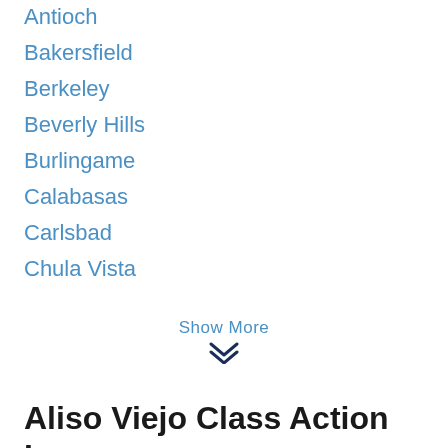Antioch
Bakersfield
Berkeley
Beverly Hills
Burlingame
Calabasas
Carlsbad
Chula Vista
Show More
Aliso Viejo Class Action Lawyers